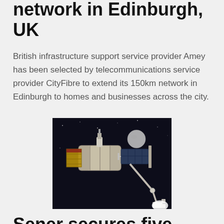network in Edinburgh, UK
British infrastructure support service provider Amey has been selected by telecommunications service provider CityFibre to extend its 150km network in Edinburgh to homes and businesses across the city.
[Figure (photo): Space photograph showing a spacecraft or satellite component with a robotic arm against a dark background, with a moon or celestial body visible in the distance.]
Sener secures five contracts for LOP-Gateway lunar mission
Spanish engineering and technology group Sener has secured five contracts for the development phase of a space